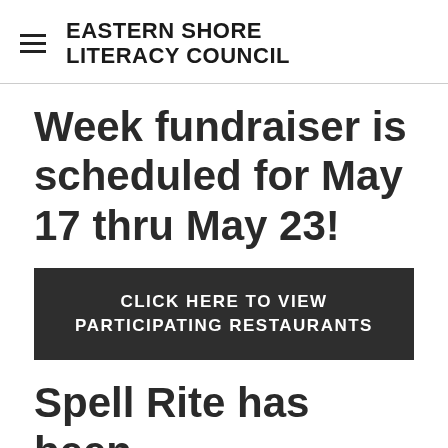EASTERN SHORE LITERACY COUNCIL
Week fundraiser is scheduled for May 17 thru May 23!
CLICK HERE TO VIEW PARTICIPATING RESTAURANTS
Spell Rite has been